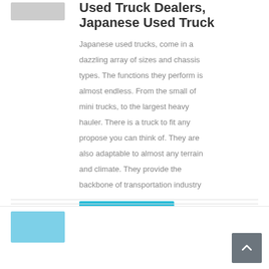[Figure (photo): Small truck image thumbnail in upper left area]
Used Truck Dealers, Japanese Used Truck
Japanese used trucks, come in a dazzling array of sizes and chassis types. The functions they perform is almost endless. From the small of mini trucks, to the largest heavy hauler. There is a truck to fit any propose you can think of. They are also adaptable to almost any terrain and climate. They provide the backbone of transportation industry
learn More
[Figure (photo): Truck image thumbnail in bottom left, blue sky background]